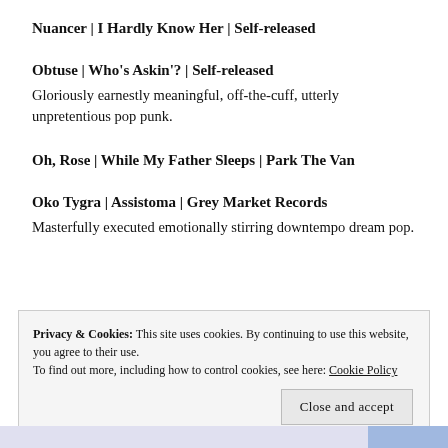Nuancer | I Hardly Know Her | Self-released
Obtuse | Who's Askin'? | Self-released
Gloriously earnestly meaningful, off-the-cuff, utterly unpretentious pop punk.
Oh, Rose | While My Father Sleeps | Park The Van
Oko Tygra | Assistoma | Grey Market Records
Masterfully executed emotionally stirring downtempo dream pop.
Privacy & Cookies: This site uses cookies. By continuing to use this website, you agree to their use. To find out more, including how to control cookies, see here: Cookie Policy
Close and accept